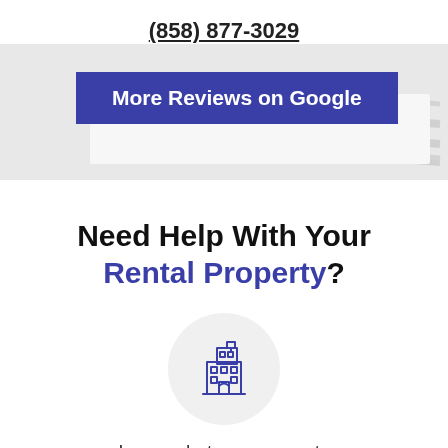(858) 877-3029
[Figure (other): Blue 'More Reviews on Google' button banner with light gray background and diagonal lines]
Need Help With Your Rental Property?
[Figure (illustration): Building/apartment icon inside a light gray circle]
Learn what your property should rent out for